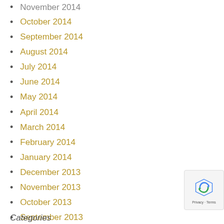November 2014
October 2014
September 2014
August 2014
July 2014
June 2014
May 2014
April 2014
March 2014
February 2014
January 2014
December 2013
November 2013
October 2013
September 2013
August 2013
July 2013
June 2013
Categories